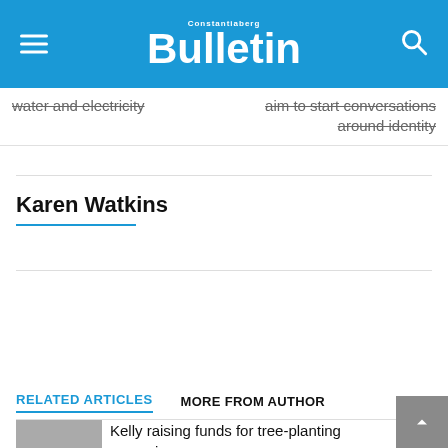Constantiaberg Bulletin
water and electricity   aim to start conversations around identity
Karen Watkins
[Figure (infographic): Social share buttons: Facebook, Twitter, WhatsApp circles, and a blue Tweet button]
RELATED ARTICLES   MORE FROM AUTHOR
Kelly raising funds for tree-planting campaign